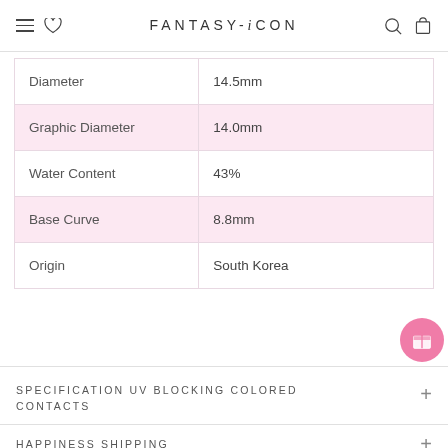FANTASY-i CON
| Property | Value |
| --- | --- |
| Diameter | 14.5mm |
| Graphic Diameter | 14.0mm |
| Water Content | 43% |
| Base Curve | 8.8mm |
| Origin | South Korea |
SPECIFICATION UV BLOCKING COLORED CONTACTS
HAPPINESS SHIPPING